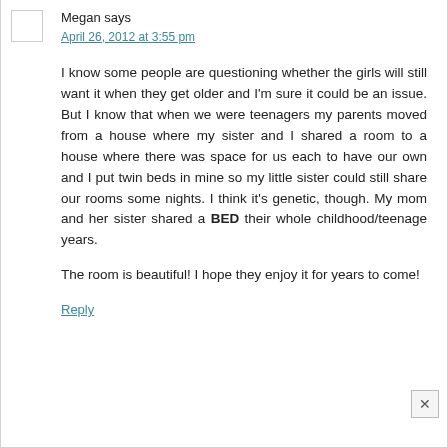Megan says
April 26, 2012 at 3:55 pm
I know some people are questioning whether the girls will still want it when they get older and I'm sure it could be an issue. But I know that when we were teenagers my parents moved from a house where my sister and I shared a room to a house where there was space for us each to have our own and I put twin beds in mine so my little sister could still share our rooms some nights. I think it's genetic, though. My mom and her sister shared a BED their whole childhood/teenage years.
The room is beautiful! I hope they enjoy it for years to come!
Reply